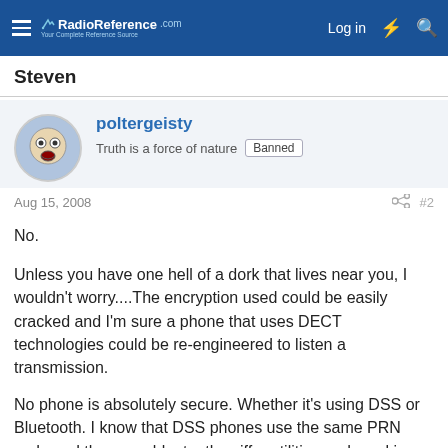RadioReference.com — Log in
Steven
poltergeisty
Truth is a force of nature  Banned
Aug 15, 2008   #2
No.

Unless you have one hell of a dork that lives near you, I wouldn't worry....The encryption used could be easily cracked and I'm sure a phone that uses DECT technologies could be re-engineered to listen a transmission.

No phone is absolutely secure. Whether it's using DSS or Bluetooth. I know that DSS phones use the same PRN code and there are bluetooth sniffer utilities and cracking methods..